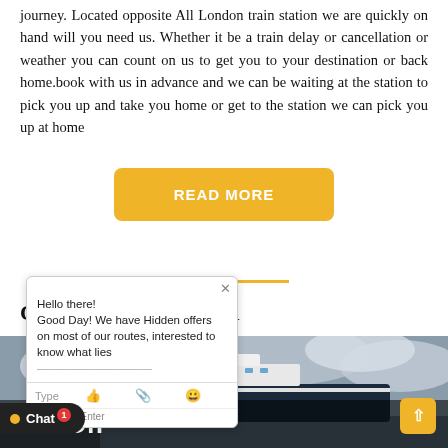journey. Located opposite All London train station we are quickly on hand will you need us. Whether it be a train delay or cancellation or weather you can count on us to get you to your destination or back home.book with us in advance and we can be waiting at the station to pick you up and take you home or get to the station we can pick you up at home
[Figure (other): Yellow rounded button with white bold text reading READ MORE]
[Figure (other): Chat popup overlay showing: Hello there! Good Day! We have Hidden offers on most of our routes, interested to know what lies... with Type input bar and emoji/attachment icons]
CRUISES TRANSFER
[Figure (photo): Photograph of a large cruise ship against a cloudy sky, viewed from the dock]
[Figure (other): Chat button at bottom left with dot icon and notification badge showing 1]
7o5 Off
[Figure (other): Yellow scroll-to-top button at bottom right with upward arrow]